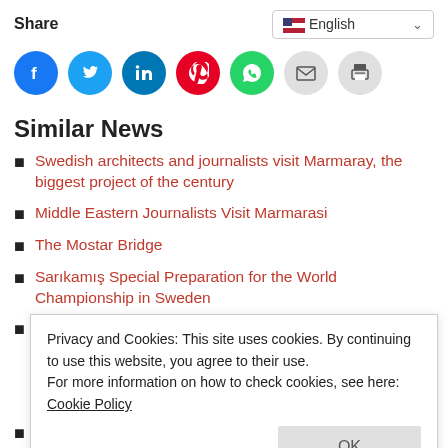Share
[Figure (infographic): Social share buttons: Facebook (blue), Twitter (light blue), LinkedIn (dark blue), Pinterest (red), WhatsApp (green), Email (gray), Print (gray)]
Similar News
Swedish architects and journalists visit Marmaray, the biggest project of the century
Middle Eastern Journalists Visit Marmarasi
The Mostar Bridge
Sarıkamış Special Preparation for the World Championship in Sweden
Hyundai Presents The New Tucson, A Technology
Privacy and Cookies: This site uses cookies. By continuing to use this website, you agree to their use.
For more information on how to check cookies, see here: Cookie Policy
The Latest Marvel of DS Automobiles' Electric Strategy